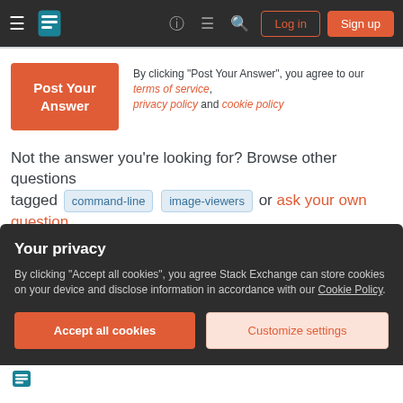Navigation bar with Stack Exchange logo, Log in and Sign up buttons
By clicking "Post Your Answer", you agree to our terms of service, privacy policy and cookie policy
Not the answer you're looking for? Browse other questions tagged command-line image-viewers or ask your own question.
The Overflow Blog
The luckiest guy in AI (Ep. 477)
Your privacy
By clicking "Accept all cookies", you agree Stack Exchange can store cookies on your device and disclose information in accordance with our Cookie Policy.
Accept all cookies | Customize settings